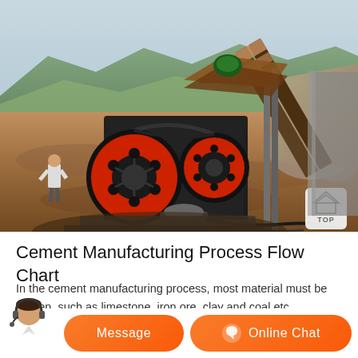[Figure (photo): Photograph of a jaw crusher machine (black body with red flywheels) at a mining/quarry site, with conveyor belt, rocky terrain, and mountains in the background. A worker is visible on the left side.]
Cement Manufacturing Process Flow Chart
In the cement manufacturing process, most material must be broken, such as limestone, iron ore, clay and coal etc. Limestone is the main raw